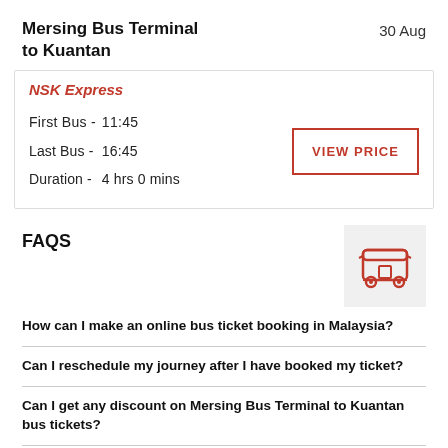Mersing Bus Terminal to Kuantan
30 Aug
NSK Express
| First Bus - | 11:45 |
| Last Bus - | 16:45 |
| Duration - | 4 hrs 0 mins |
VIEW PRICE
FAQS
[Figure (illustration): Red bus icon on light gray background]
How can I make an online bus ticket booking in Malaysia?
Can I reschedule my journey after I have booked my ticket?
Can I get any discount on Mersing Bus Terminal to Kuantan bus tickets?
Which is the best offer for Mersing Bus Terminal to Kuantan bus